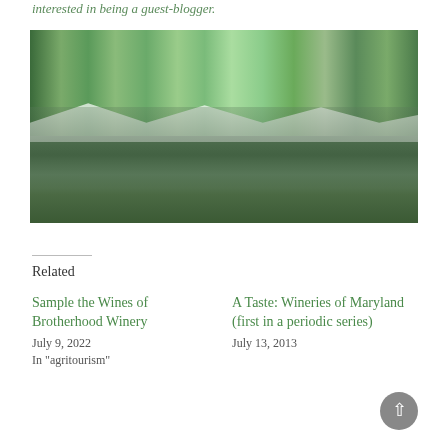interested in being a guest-blogger.
[Figure (photo): Outdoor wine festival with large crowd of people sitting on lawn chairs and grass under tall trees with white vendor tents in the background]
Related
Sample the Wines of Brotherhood Winery
July 9, 2022
In "agritourism"
A Taste: Wineries of Maryland (first in a periodic series)
July 13, 2013